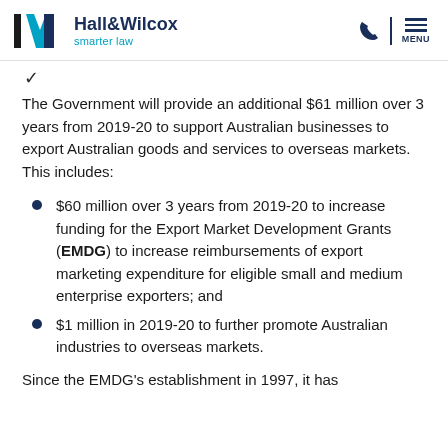Hall&Wilcox smarter law
The Government will provide an additional $61 million over 3 years from 2019-20 to support Australian businesses to export Australian goods and services to overseas markets. This includes:
$60 million over 3 years from 2019-20 to increase funding for the Export Market Development Grants (EMDG) to increase reimbursements of export marketing expenditure for eligible small and medium enterprise exporters; and
$1 million in 2019-20 to further promote Australian industries to overseas markets.
Since the EMDG's establishment in 1997, it has